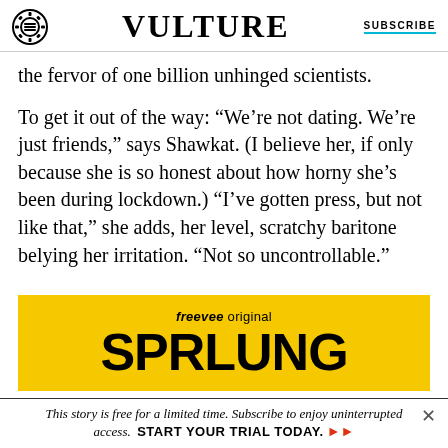VULTURE | SUBSCRIBE
the fervor of one billion unhinged scientists.
To get it out of the way: “We’re not dating. We’re just friends,” says Shawkat. (I believe her, if only because she is so honest about how horny she’s been during lockdown.) “I’ve gotten press, but not like that,” she adds, her level, scratchy baritone belying her irritation. “Not so uncontrollable.”
[Figure (infographic): Yellow advertisement banner for Amazon Freevee original series 'SPRLING' showing the show title in large bold black letters on a yellow background with 'freevee original' text above.]
This story is free for a limited time. Subscribe to enjoy uninterrupted access. START YOUR TRIAL TODAY.